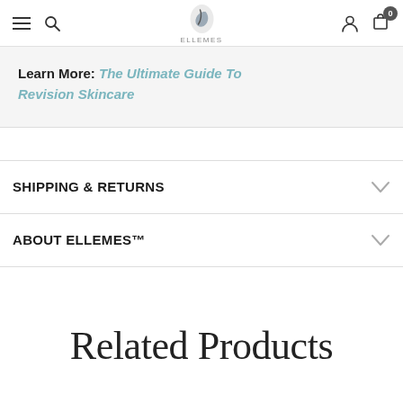ELLEMES — navigation bar with hamburger, search, logo, account, cart (0)
Learn More: The Ultimate Guide To Revision Skincare
SHIPPING & RETURNS
ABOUT ELLEMES™
Related Products